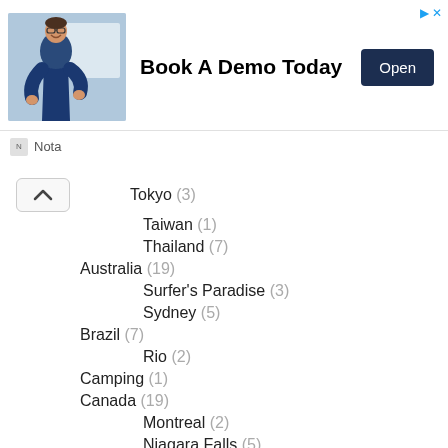[Figure (infographic): Advertisement banner showing a man in business attire with text 'Book A Demo Today' and an 'Open' button, branded with Nota logo]
Tokyo (3)
Taiwan (1)
Thailand (7)
Australia (19)
Surfer's Paradise (3)
Sydney (5)
Brazil (7)
Rio (2)
Camping (1)
Canada (19)
Montreal (2)
Niagara Falls (5)
Toronto (1)
Caribbean (54)